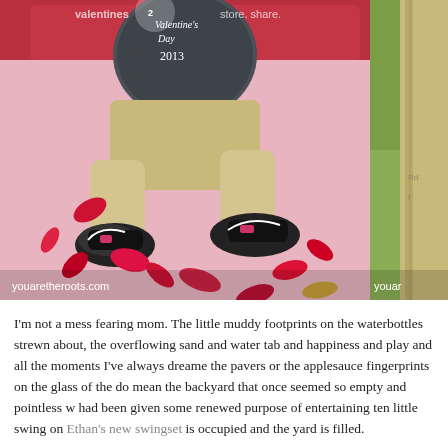[Figure (photo): Main photo: child lying on pink bedding surrounded by red rose petals, wearing black sneakers, holding a chalkboard sign reading 'Valentine's Day 2013'. Watermark 'youaretheroots.com' at bottom left. A partial second photo is visible on the right edge showing green grass and a wooden structure with 'youar' watermark.]
I'm not a mess fearing mom. The little muddy footprints on the waterbottles strewn about, the overflowing sand and water tab and happiness and play and all the moments I've always dreame the pavers or the applesauce fingerprints on the glass of the do mean the backyard that once seemed so empty and pointless w had been given some renewed purpose of entertaining ten little swing on Ethan's new swingset is occupied and the yard is filled.
And I so can't wait to get this Earth Day party rolling.